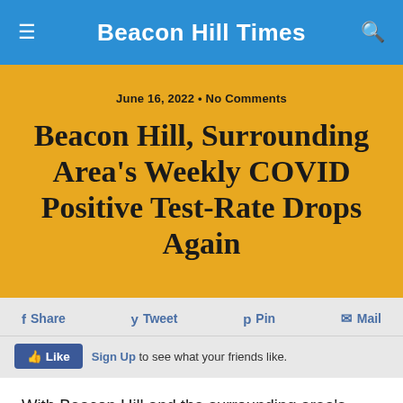Beacon Hill Times
June 16, 2022 • No Comments
Beacon Hill, Surrounding Area's Weekly COVID Positive Test-Rate Drops Again
Share  Tweet  Pin  Mail
Like  Sign Up to see what your friends like.
With Beacon Hill and the surrounding area's weekly COVID positive test rates continuing to slowly drop week after week the Massachusetts Department of Public Health (MassDPH) announced an update to its statewide mask advisory. The updated policy now puts